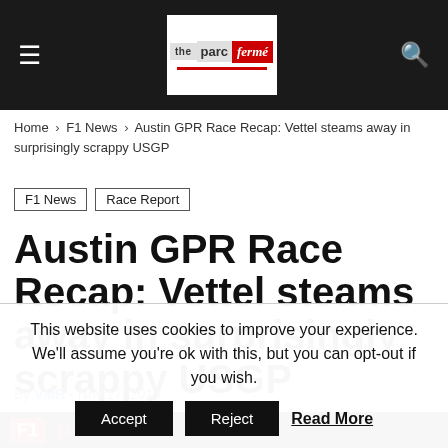parc fermé — navigation header with logo
Home › F1 News › Austin GPR Race Recap: Vettel steams away in surprisingly scrappy USGP
F1 News
Race Report
Austin GPR Race Recap: Vettel steams away in surprisingly scrappy USGP
By VMR - Nov 17, 2013
[Figure (photo): Partial image of an F1 related banner/graphic with red F1 logo on dark background]
This website uses cookies to improve your experience. We'll assume you're ok with this, but you can opt-out if you wish. Accept Reject Read More